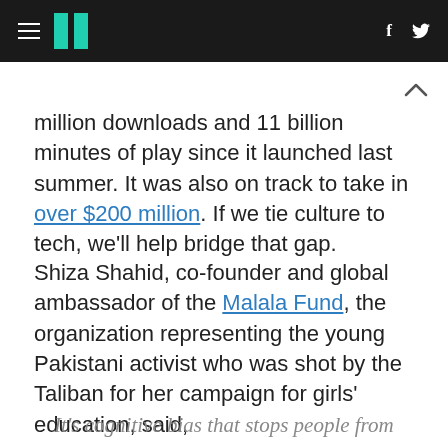HuffPost navigation bar with hamburger menu, logo, Facebook and Twitter icons
million downloads and 11 billion minutes of play since it launched last summer. It was also on track to take in over $200 million. If we tie culture to tech, we'll help bridge that gap.
Shiza Shahid, co-founder and global ambassador of the Malala Fund, the organization representing the young Pakistani activist who was shot by the Taliban for her campaign for girls' education, said,
It's cognitive bias that stops people from